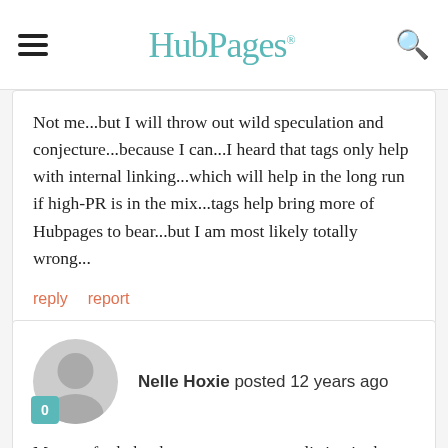HubPages
Not me...but I will throw out wild speculation and conjecture...because I can...I heard that tags only help with internal linking...which will help in the long run if high-PR is in the mix...tags help bring more of Hubpages to bear...but I am most likely totally wrong...
reply   report
Nelle Hoxie posted 12 years ago
My tags for hubs show up as a separate listing in the search engines. So yes I do believe that you can be found in google on the basis of your tags.